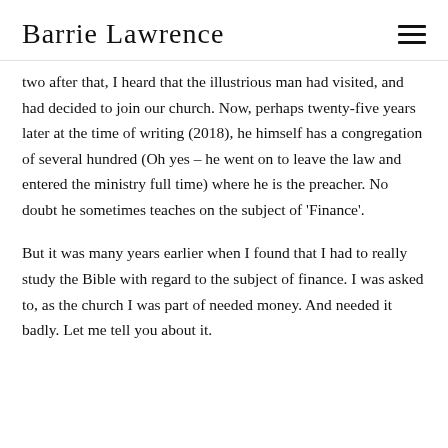Barrie Lawrence
two after that, I heard that the illustrious man had visited, and had decided to join our church. Now, perhaps twenty-five years later at the time of writing (2018), he himself has a congregation of several hundred (Oh yes – he went on to leave the law and entered the ministry full time) where he is the preacher. No doubt he sometimes teaches on the subject of 'Finance'.
But it was many years earlier when I found that I had to really study the Bible with regard to the subject of finance. I was asked to, as the church I was part of needed money. And needed it badly. Let me tell you about it.